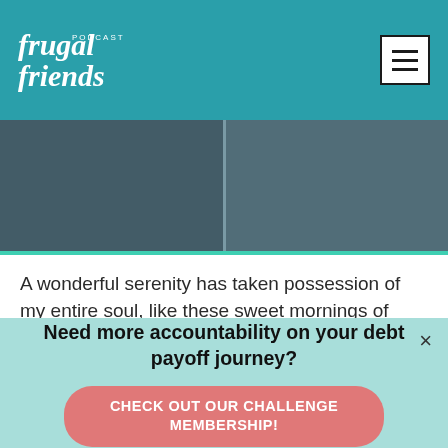frugal friends podcast
[Figure (photo): Two-panel photo strip showing people, used as hero/banner image for the Frugal Friends Podcast website]
A wonderful serenity has taken possession of my entire soul, like these sweet mornings of spring which I enjoy with my whole heart. I am alone, and feel the charm of existence in this
Need more accountability on your debt payoff journey?
CHECK OUT OUR CHALLENGE MEMBERSHIP!